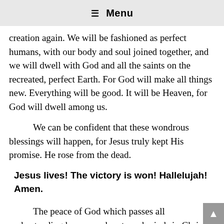☰ Menu
creation again. We will be fashioned as perfect humans, with our body and soul joined together, and we will dwell with God and all the saints on the recreated, perfect Earth. For God will make all things new. Everything will be good. It will be Heaven, for God will dwell among us.
We can be confident that these wondrous blessings will happen, for Jesus truly kept His promise. He rose from the dead.
Jesus lives! The victory is won! Hallelujah! Amen.
The peace of God which passes all understanding keep your hearts and minds in Christ Jesus to life everlasting. Amen